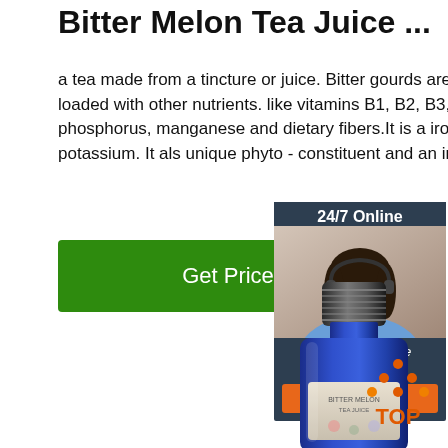Bitter Melon Tea Juice ...
a tea made from a tincture or juice. Bitter gourds are extremely low in calories but are loaded with other nutrients. like vitamins B1, B2, B3, and C, magnesium folate, inc phosphorus, manganese and dietary fibers.It is a iron, beta-carotene,calcium and potassium. It als unique phyto - constituent and an insulin-like.
[Figure (illustration): Green 'Get Price' button]
[Figure (illustration): 24/7 Online chat widget with a customer service representative photo, 'Click here for free chat!' text, and orange QUOTATION button]
[Figure (photo): Blue glass bottle with black cap containing Bitter Melon Tea Juice product]
[Figure (illustration): Orange and red 'TOP' icon with dots arranged in a triangle shape above the text]